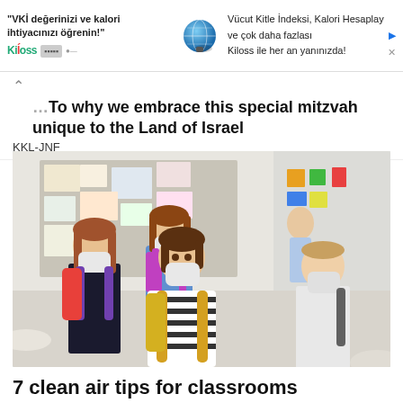[Figure (infographic): Advertisement banner with Kiloss app. Left side shows Turkish text: "VKİ değerinizi ve kalori ihtiyacınızı öğrenin!" with Kiloss logo. Center shows a 3D globe icon. Right side shows Turkish text: "Vücut Kitle İndeksi, Kalori Hesaplayıcı ve çok daha fazlası Kiloss ile her an yanınızda!" with close buttons.]
To why we embrace this special mitzvah unique to the Land of Israel
KKL-JNF
[Figure (photo): Photo of several schoolchildren wearing white face masks, carrying backpacks, standing in a classroom. A girl in a striped shirt with a yellow backpack is in the foreground center. Other children are visible behind her.]
7 clean air tips for classrooms